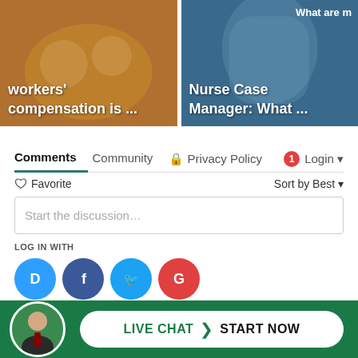[Figure (screenshot): Two image cards side by side. Left card shows medical/workers compensation image with text 'workers' compensation is ...' overlaid. Right card shows nurse image with text 'Nurse Case Manager: What ...' and 'What are m' at top right.]
Comments  Community  🔒 Privacy Policy  🔴1  Login ▾
♡ Favorite    Sort by Best ▾
Start the discussion…
LOG IN WITH
[Figure (logo): Social login icons: Disqus (D, blue circle), Facebook (f, dark blue circle), Twitter (bird, light blue circle), Google (G, red circle)]
OR SIGN UP WITH DISQUS ?
Name
LIVE CHAT  ❯  START NOW